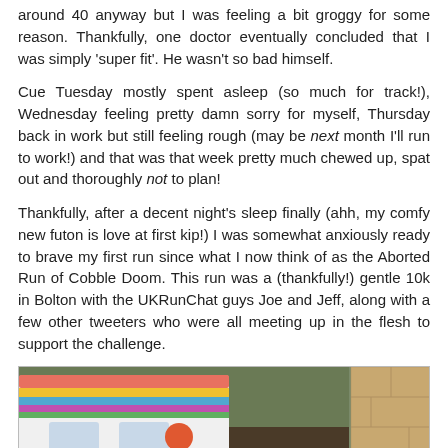around 40 anyway but I was feeling a bit groggy for some reason. Thankfully, one doctor eventually concluded that I was simply 'super fit'. He wasn't so bad himself.
Cue Tuesday mostly spent asleep (so much for track!), Wednesday feeling pretty damn sorry for myself, Thursday back in work but still feeling rough (may be next month I'll run to work!) and that was that week pretty much chewed up, spat out and thoroughly not to plan!
Thankfully, after a decent night's sleep finally (ahh, my comfy new futon is love at first kip!) I was somewhat anxiously ready to brave my first run since what I now think of as the Aborted Run of Cobble Doom. This run was a (thankfully!) gentle 10k in Bolton with the UKRunChat guys Joe and Jeff, along with a few other tweeters who were all meeting up in the flesh to support the challenge.
[Figure (photo): Group photo of people standing in front of a colorful rainbow-striped vehicle/camper van, with trees in the background on the left and a stone wall on the right.]